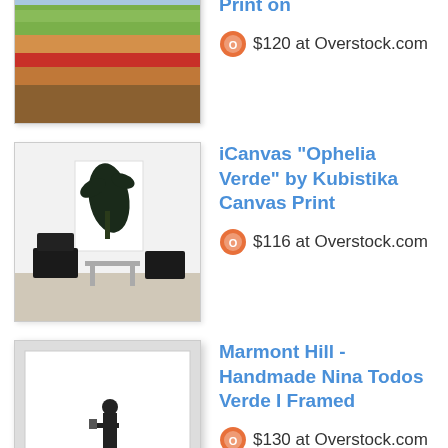[Figure (photo): Partial product image at top - green plaid rug/fabric thumbnail]
[Figure (photo): Thumbnail of Terra Verde fine art giclee print on canvas by Jan Weiss - colorful landscape painting]
"Terra Verde" By Jan Weiss, Fine Art Giclee Print on
$120 at Overstock.com
[Figure (photo): Thumbnail of Ophelia Verde canvas print by Kubistika - black leaf on white background in room setting]
iCanvas "Ophelia Verde" by Kubistika Canvas Print
$116 at Overstock.com
[Figure (photo): Thumbnail of Marmont Hill Nina Todos Verde I framed print - figure in white frame]
Marmont Hill - Handmade Nina Todos Verde I Framed
$130 at Overstock.com
[Figure (photo): Thumbnail of Green Sedona Verde Cotton Flat Weave Rug - colorful striped rug]
Green Sedona Verde Cotton Flat Weave Rug